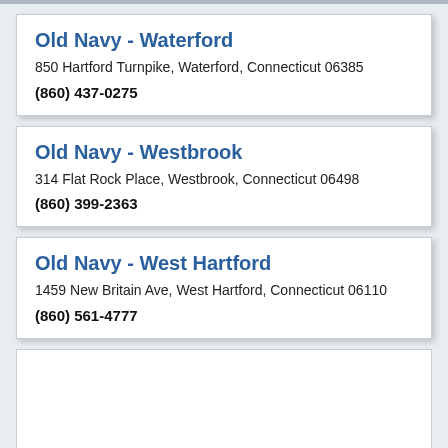Old Navy - Waterford
850 Hartford Turnpike, Waterford, Connecticut 06385
(860) 437-0275
Old Navy - Westbrook
314 Flat Rock Place, Westbrook, Connecticut 06498
(860) 399-2363
Old Navy - West Hartford
1459 New Britain Ave, West Hartford, Connecticut 06110
(860) 561-4777